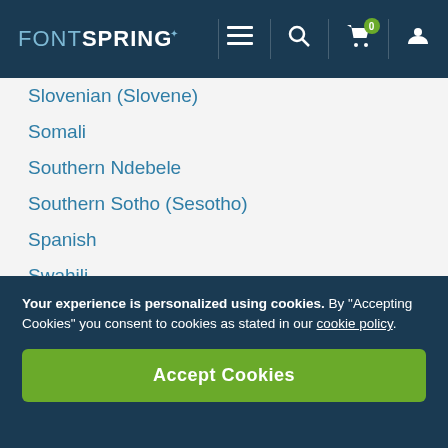FONTSPRING
Slovenian (Slovene)
Somali
Southern Ndebele
Southern Sotho (Sesotho)
Spanish
Swahili
Swati/Swazi
Swedish
Tagalog (Filipino/Pilipino)
Tahitian
Tausug
Tetum (Tetun)
Your experience is personalized using cookies. By "Accepting Cookies" you consent to cookies as stated in our cookie policy.
Accept Cookies